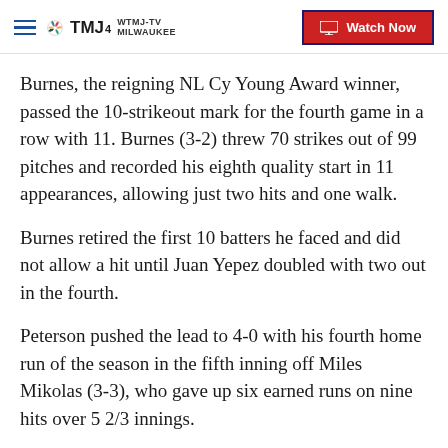WTMJ-TV MILWAUKEE | Watch Now
Burnes, the reigning NL Cy Young Award winner, passed the 10-strikeout mark for the fourth game in a row with 11. Burnes (3-2) threw 70 strikes out of 99 pitches and recorded his eighth quality start in 11 appearances, allowing just two hits and one walk.
Burnes retired the first 10 batters he faced and did not allow a hit until Juan Yepez doubled with two out in the fourth.
Peterson pushed the lead to 4-0 with his fourth home run of the season in the fifth inning off Miles Mikolas (3-3), who gave up six earned runs on nine hits over 5 2/3 innings.